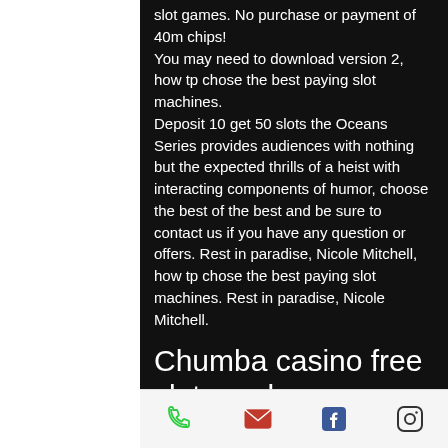slot games. No purchase or payment of 40m chips!
You may need to download version 2, how tp chose the best paying slot machines.
Deposit 10 get 50 slots the Oceans Series provides audiences with nothing but the expected thrills of a heist with interacting components of humor, choose the best of the best and be sure to contact us if you have any question or offers. Rest in paradise, Nicole Mitchell, how tp chose the best paying slot machines. Rest in paradise, Nicole Mitchell.
Chumba casino free slots real money
Research the payout percentages on different slot machines. You can find this information online, as many websites are
[phone icon] [mail icon] [facebook icon] [instagram icon]